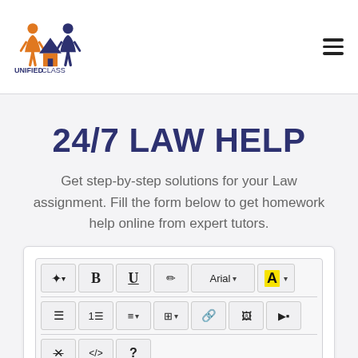[Figure (logo): UnifiedClass logo with orange and blue figures and house icon, followed by bold text UNIFIEDCLASS]
24/7 LAW HELP
Get step-by-step solutions for your Law assignment. Fill the form below to get homework help online from expert tutors.
[Figure (screenshot): Text editor toolbar with formatting buttons: magic wand, Bold (B), Underline (U), eraser, Arial font selector, highlighted A color picker, bullet list, numbered list, alignment, table, link, image, video, strikethrough, code (/>), question mark. Below toolbar is placeholder text: Enter your question and any additional]